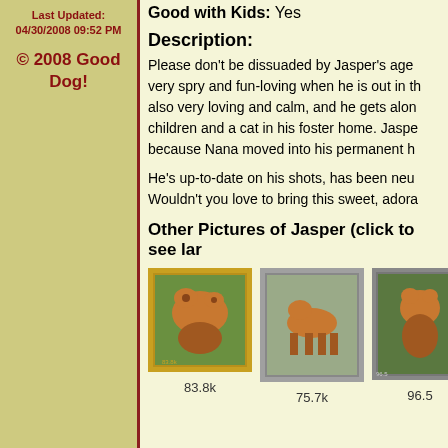Last Updated:
04/30/2008 09:52 PM
© 2008 Good Dog!
Good with Kids: Yes
Description:
Please don't be dissuaded by Jasper's age very spry and fun-loving when he is out in th also very loving and calm, and he gets alon children and a cat in his foster home. Jaspe because Nana moved into his permanent h
He's up-to-date on his shots, has been neu Wouldn't you love to bring this sweet, adora
Other Pictures of Jasper (click to see lar
[Figure (photo): Dog photo in gold frame, 83.8k]
83.8k
[Figure (photo): Dog photo in silver frame, 75.7k]
75.7k
[Figure (photo): Dog photo partially visible, 96.5k]
96.5